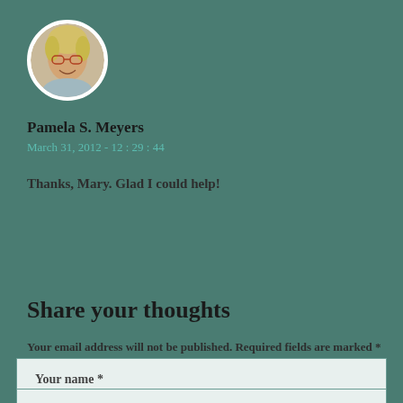[Figure (photo): Circular avatar photo of a smiling person with glasses and light hair]
Pamela S. Meyers
March 31, 2012 - 12 : 29 : 44
Thanks, Mary. Glad I could help!
Reply
Share your thoughts
Your email address will not be published. Required fields are marked *
Your name *